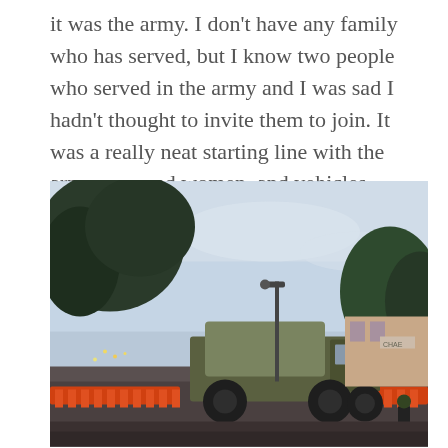it was the army. I don't have any family who has served, but I know two people who served in the army and I was sad I hadn't thought to invite them to join. It was a really neat starting line with the army men and women, and vehicles.
[Figure (photo): Outdoor street scene at dusk showing a large military truck (army vehicle with olive green canvas cover) driving on a road blocked off with orange construction barriers. Trees are visible on both sides, with a pale blue sky in the background and buildings visible on the right side.]